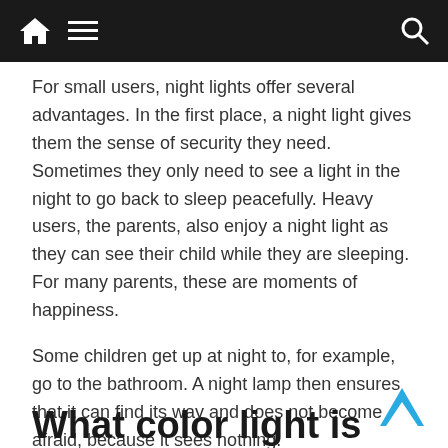Navigation bar with home, menu, and search icons
For small users, night lights offer several advantages. In the first place, a night light gives them the sense of security they need. Sometimes they only need to see a light in the night to go back to sleep peacefully. Heavy users, the parents, also enjoy a night light as they can see their child while they are sleeping. For many parents, these are moments of happiness.
Some children get up at night to, for example, go to the bathroom. A night lamp then ensures that it can find its way and does not become afraid, because it sees nothing.
What color light is